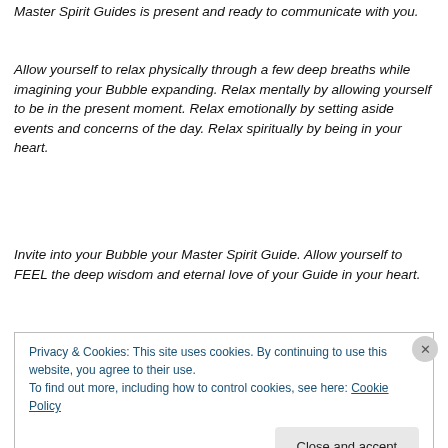Master Spirit Guides is present and ready to communicate with you.
Allow yourself to relax physically through a few deep breaths while imagining your Bubble expanding. Relax mentally by allowing yourself to be in the present moment. Relax emotionally by setting aside events and concerns of the day. Relax spiritually by being in your heart.
Invite into your Bubble your Master Spirit Guide. Allow yourself to FEEL the deep wisdom and eternal love of your Guide in your heart.
Privacy & Cookies: This site uses cookies. By continuing to use this website, you agree to their use.
To find out more, including how to control cookies, see here: Cookie Policy
Close and accept